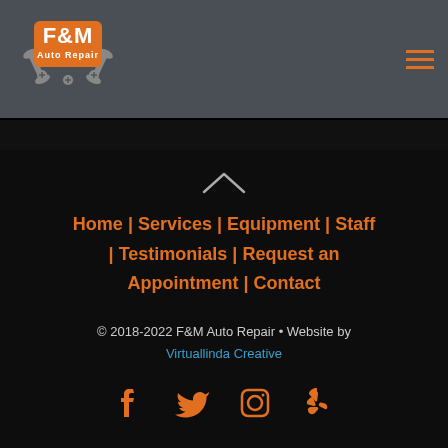F&M Auto Repair - navigation header with logo and hamburger menu
[Figure (logo): F&M Auto Repair logo with wrench graphics on gray background]
Home | Services | Equipment | Staff | Testimonials | Request an Appointment | Contact
© 2018-2022 F&M Auto Repair • Website by Virtuallinda Creative
[Figure (infographic): Social media icons: Facebook, Twitter, Instagram, Yelp in orange]